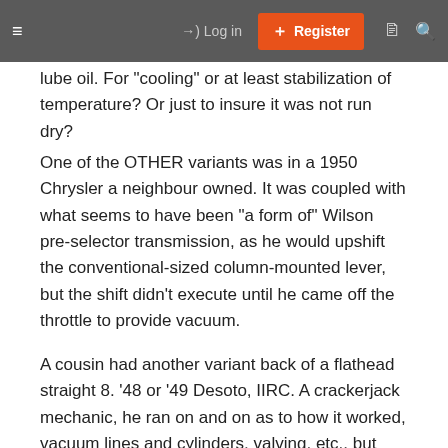≡  →) Log in  [+] Register  🗋  🔍
lube oil. For "cooling" or at least stabilization of temperature? Or just to insure it was not run dry?
One of the OTHER variants was in a 1950 Chrysler a neighbour owned. It was coupled with what seems to have been "a form of" Wilson pre-selector transmission, as he would upshift the conventional-sized column-mounted lever, but the shift didn't execute until he came off the throttle to provide vacuum.
A cousin had another variant back of a flathead straight 8. '48 or '49 Desoto, IIRC. A crackerjack mechanic, he ran on and on as to how it worked, vacuum lines and cylinders, valving, etc.. but WTF?
I came across a 1945 era self-help it out there of...